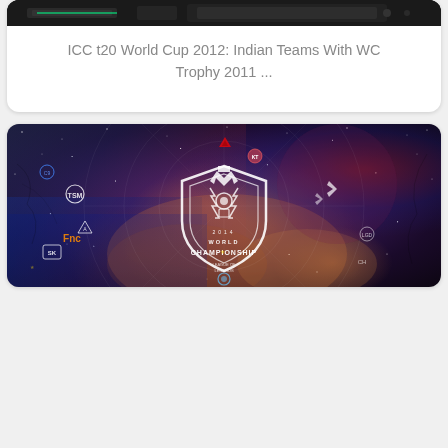[Figure (photo): Dark gaming/esports themed image with a green glowing line element visible at top]
ICC t20 World Cup 2012: Indian Teams With WC Trophy 2011 ...
[Figure (illustration): League of Legends 2014 World Championship promotional image showing championship shield logo on a cosmic/nebula background with various team logos and national flag overlays (USA, Korea, EU). Teams visible include TSM, SKT, Fnatic, Alliance, and others positioned around a circular grid map.]